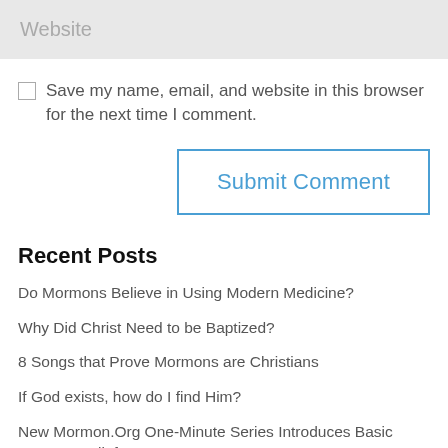Website
Save my name, email, and website in this browser for the next time I comment.
Submit Comment
Recent Posts
Do Mormons Believe in Using Modern Medicine?
Why Did Christ Need to be Baptized?
8 Songs that Prove Mormons are Christians
If God exists, how do I find Him?
New Mormon.Org One-Minute Series Introduces Basic Mormon Beliefs